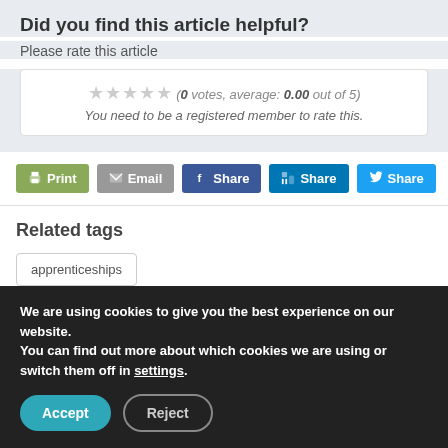Did you find this article helpful?
Please rate this article
(0 votes, average: 0.00 out of 5)
You need to be a registered member to rate this.
Print | Email | Share | Share | Share
Related tags
apprenticeships
We are using cookies to give you the best experience on our website.
You can find out more about which cookies we are using or switch them off in settings.
Accept | Reject